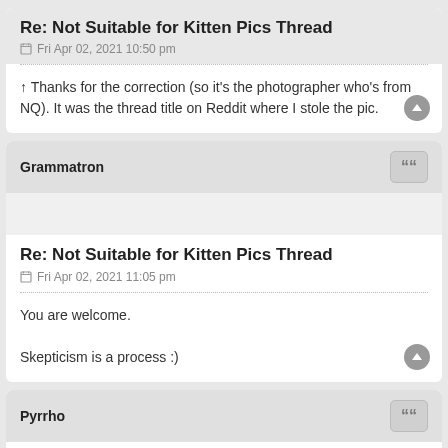Re: Not Suitable for Kitten Pics Thread
Fri Apr 02, 2021 10:50 pm
↑ Thanks for the correction (so it's the photographer who's from NQ). It was the thread title on Reddit where I stole the pic.
Grammatron
Re: Not Suitable for Kitten Pics Thread
Fri Apr 02, 2021 11:05 pm
You are welcome.

Skepticism is a process :)
Pyrrho
Re: Not Suitable for Kitten Pics Thread